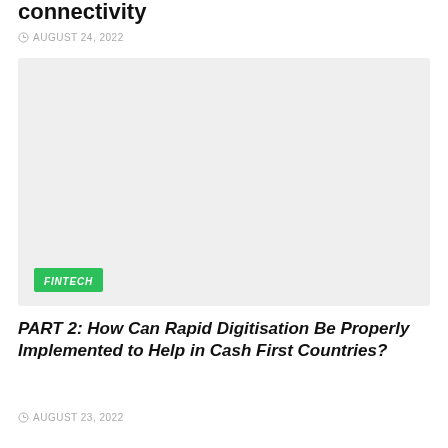connectivity
AUGUST 24, 2022
[Figure (photo): Gray placeholder image with a green FINTECH badge in the bottom-left corner]
PART 2: How Can Rapid Digitisation Be Properly Implemented to Help in Cash First Countries?
AUGUST 23, 2022